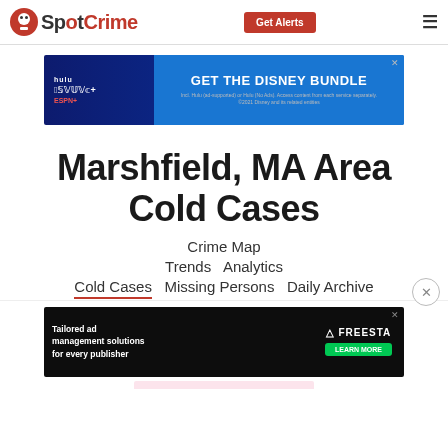SpotCrime
[Figure (screenshot): Disney Bundle advertisement banner - dark blue background with Hulu, Disney+, ESPN+ logos and GET THE DISNEY BUNDLE text]
Marshfield, MA Area Cold Cases
Crime Map
Trends   Analytics
Cold Cases   Missing Persons   Daily Archive
[Figure (screenshot): Freestar advertisement banner - dark background with tailored ad management solutions text and LEARN MORE button]